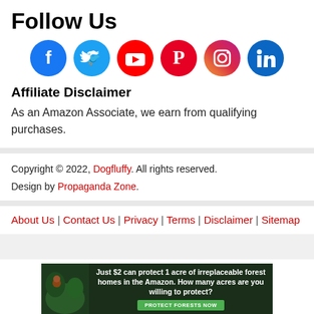Follow Us
[Figure (infographic): Six social media icons in colored circles: Facebook (blue), Twitter (light blue), YouTube (red), Pinterest (red), Instagram (pink/purple), LinkedIn (dark blue)]
Affiliate Disclaimer
As an Amazon Associate, we earn from qualifying purchases.
Copyright © 2022, Dogfluffy. All rights reserved. Design by Propaganda Zone.
About Us | Contact Us | Privacy | Terms | Disclaimer | Sitemap
[Figure (infographic): Banner ad: Just $2 can protect 1 acre of irreplaceable forest homes in the Amazon. How many acres are you willing to protect? PROTECT FORESTS NOW]